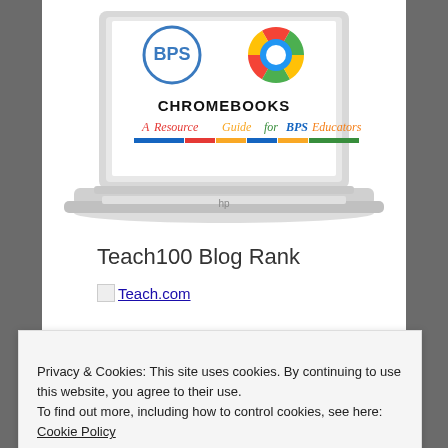[Figure (illustration): HP Chromebook laptop with BPS logo and Chrome browser icon on screen, text reading 'CHROMEBOOKS A Resource Guide for BPS Educators' with colorful underline bar]
Teach100 Blog Rank
Teach.com
Privacy & Cookies: This site uses cookies. By continuing to use this website, you agree to their use.
To find out more, including how to control cookies, see here: Cookie Policy
Close and accept